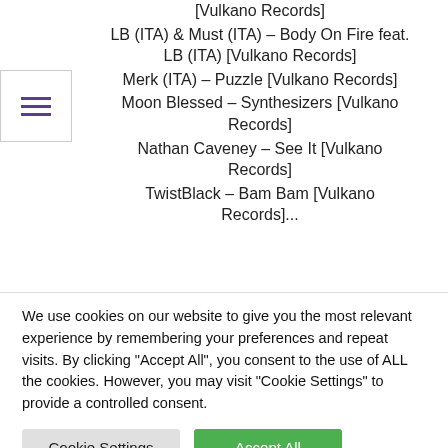[Vulkano Records]
LB (ITA) & Must (ITA) – Body On Fire feat. LB (ITA) [Vulkano Records]
Merk (ITA) – Puzzle [Vulkano Records]
Moon Blessed – Synthesizers [Vulkano Records]
Nathan Caveney – See It [Vulkano Records]
TwistBlack – Bam Bam [Vulkano Records]...
We use cookies on our website to give you the most relevant experience by remembering your preferences and repeat visits. By clicking "Accept All", you consent to the use of ALL the cookies. However, you may visit "Cookie Settings" to provide a controlled consent.